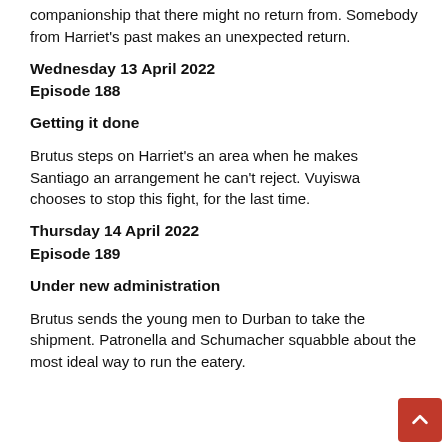companionship that there might no return from. Somebody from Harriet's past makes an unexpected return.
Wednesday 13 April 2022
Episode 188
Getting it done
Brutus steps on Harriet's an area when he makes Santiago an arrangement he can't reject. Vuyiswa chooses to stop this fight, for the last time.
Thursday 14 April 2022
Episode 189
Under new administration
Brutus sends the young men to Durban to take the shipment. Patronella and Schumacher squabble about the most ideal way to run the eatery.